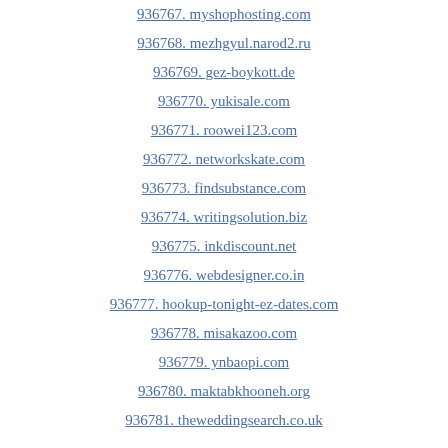936767. myshophosting.com
936768. mezhgyul.narod2.ru
936769. gez-boykott.de
936770. yukisale.com
936771. roowei123.com
936772. networkskate.com
936773. findsubstance.com
936774. writingsolution.biz
936775. inkdiscount.net
936776. webdesigner.co.in
936777. hookup-tonight-ez-dates.com
936778. misakazoo.com
936779. ynbaopi.com
936780. maktabkhooneh.org
936781. theweddingsearch.co.uk